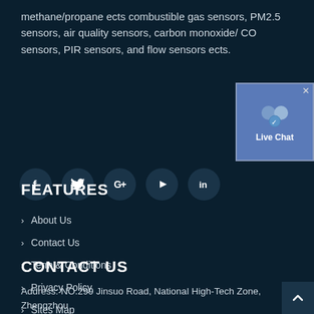methane/propane ects combustible gas sensors, PM2.5 sensors, air quality sensors, carbon monoxide/ CO sensors, PIR sensors, and flow sensors ects.
[Figure (infographic): Five social media icons (Facebook, Twitter, Google+, YouTube, LinkedIn) as circular dark buttons, and a Live Chat widget in top-right corner]
FEATURES
About Us
Contact Us
Term & Conditions
Privacy Policy
Sites Map
CONTACT US
Address: NO.299 Jinsuo Road, National High-Tech Zone, Zhengzhou
Phone: 0086-371-67150897